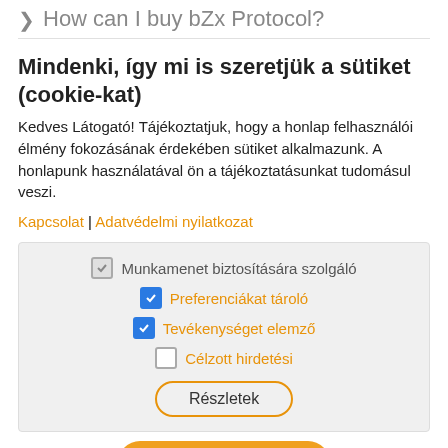↓ How can I buy bZx Protocol?
Mindenki, így mi is szeretjük a sütiket (cookie-kat)
Kedves Látogató! Tájékoztatjuk, hogy a honlap felhasználói élmény fokozásának érdekében sütiket alkalmazunk. A honlapunk használatával ön a tájékoztatásunkat tudomásul veszi.
Kapcsolat | Adatvédelmi nyilatkozat
Munkamenet biztosítására szolgáló
Preferenciákat tároló
Tevékenységet elemző
Célzott hirdetési
Részletek
Elfogadom